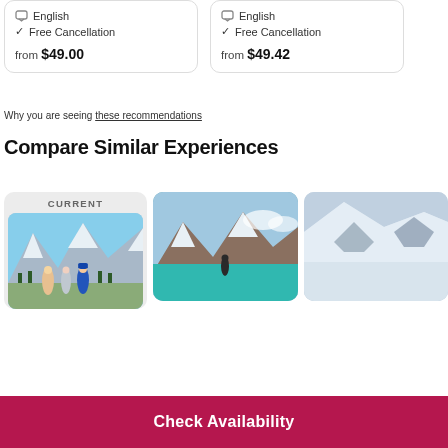English
Free Cancellation
from $49.00
English
Free Cancellation
from $49.42
Why you are seeing these recommendations
Compare Similar Experiences
[Figure (photo): Current experience: group of people near Lake Louise with snow-capped mountains in background, guide in blue jacket]
[Figure (photo): Similar experience: person standing at edge of turquoise Lake Louise with mountains and clouds]
[Figure (photo): Partially visible third similar experience: snowy mountain scene]
Check Availability